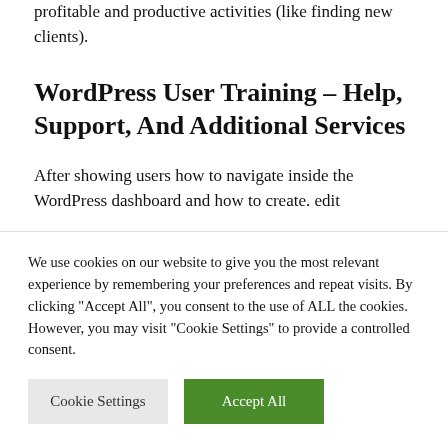profitable and productive activities (like finding new clients).
WordPress User Training – Help, Support, And Additional Services
After showing users how to navigate inside the WordPress dashboard and how to create. edit
We use cookies on our website to give you the most relevant experience by remembering your preferences and repeat visits. By clicking "Accept All", you consent to the use of ALL the cookies. However, you may visit "Cookie Settings" to provide a controlled consent.